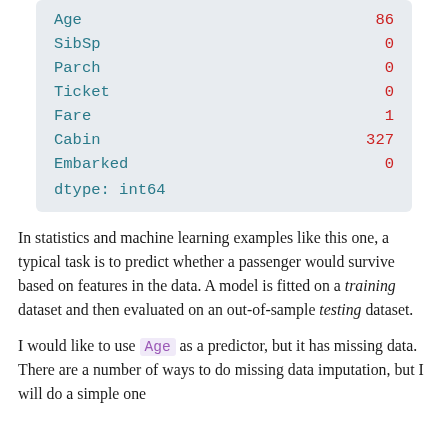| Feature | Count |
| --- | --- |
| Age | 86 |
| SibSp | 0 |
| Parch | 0 |
| Ticket | 0 |
| Fare | 1 |
| Cabin | 327 |
| Embarked | 0 |
| dtype: int64 |  |
In statistics and machine learning examples like this one, a typical task is to predict whether a passenger would survive based on features in the data. A model is fitted on a training dataset and then evaluated on an out-of-sample testing dataset.
I would like to use Age as a predictor, but it has missing data. There are a number of ways to do missing data imputation, but I will do a simple one